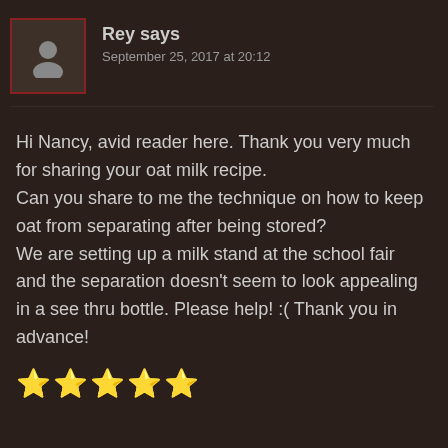Rey says
September 25, 2017 at 20:12
Hi Nancy, avid reader here. Thank you very much for sharing your oat milk recipe.
Can you share to me the technique on how to keep oat from separating after being stored?
We are setting up a milk stand at the school fair and the separation doesn't seem to look appealing in a see thru bottle. Please help! :( Thank you in advance!
★★★★★